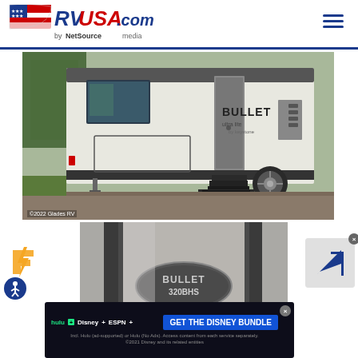[Figure (logo): RVUSA.com by NetSource Media logo with American flag graphic and hamburger menu icon]
[Figure (photo): Exterior photo of a Keystone Bullet 320BHS travel trailer showing side entry door with steps deployed, white exterior panels with dark trim, and branded Bullet Ultra Lite decal on the rear. Copyright 2022 Glades RV watermark visible.]
[Figure (photo): Close-up photo of the Bullet 320BHS model badge/emblem on the side of the travel trailer]
[Figure (other): Advertisement banner: Get The Disney Bundle - Hulu, Disney+, ESPN+. Incl. Hulu (ad-supported) or Hulu (No Ads). Access content from each service separately. ©2021 Disney and its related entities]
[Figure (logo): Freevee logo (yellow lightning bolt F icon)]
[Figure (other): Arrow ad icon with close button]
[Figure (other): Accessibility icon (blue circle with person symbol)]